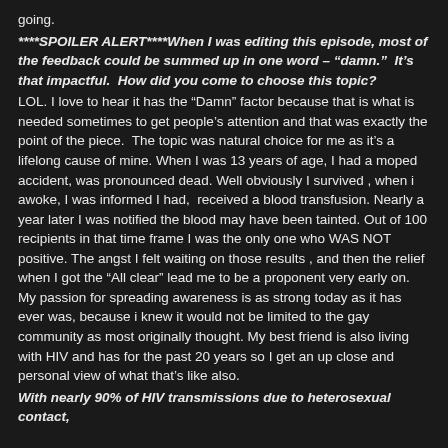going.
****SPOILER ALERT****When I was editing this episode, most of the feedback could be summed up in one word – "damn."  It's that impactful.  How did you come to choose this topic?
LOL. I love to hear it has the "Damn" factor because that is what is needed sometimes to get people's attention and that was exactly the point of the piece.  The topic was natural choice for me as it's a lifelong cause of mine. When I was 13 years of age, I had a moped accident, was pronounced dead. Well obviously I survived , when i awoke, I was informed I had,  received a blood transfusion. Nearly a year later I was notified the blood may have been tainted. Out of 100 recipients in that time frame I was the only one who WAS NOT positive. The angst I felt waiting on those results , and then the relief when I got the "All clear" lead me to be a proponent very early on. My passion for spreading awareness is as strong today as it has ever was, because i knew it would not be limited to the gay community as most originally thought. My best friend is also living with HIV and has for the past 20 years so I get an up close and personal view of what that's like also.
With nearly 90% of HIV transmissions due to heterosexual contact,